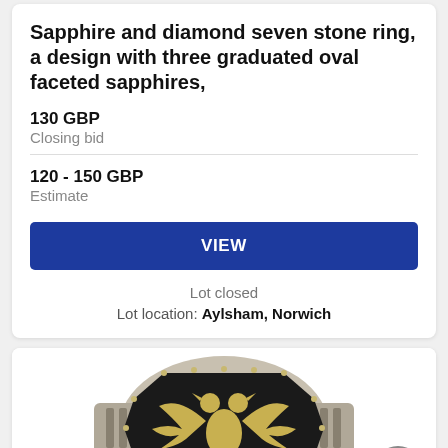Sapphire and diamond seven stone ring, a design with three graduated oval faceted sapphires,
130 GBP
Closing bid
120 - 150 GBP
Estimate
VIEW
Lot closed
Lot location: Aylsham, Norwich
[Figure (photo): A silver signet ring featuring a double-headed eagle (Albanian eagle) emblem on a black rectangular face with decorative border, displayed on a white background.]